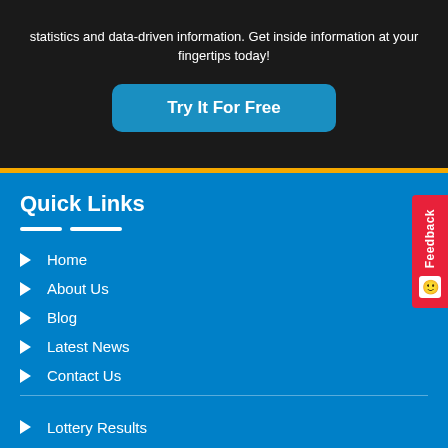statistics and data-driven information. Get inside information at your fingertips today!
Try It For Free
Quick Links
Home
About Us
Blog
Latest News
Contact Us
Strange Suggestions
Lottery Results